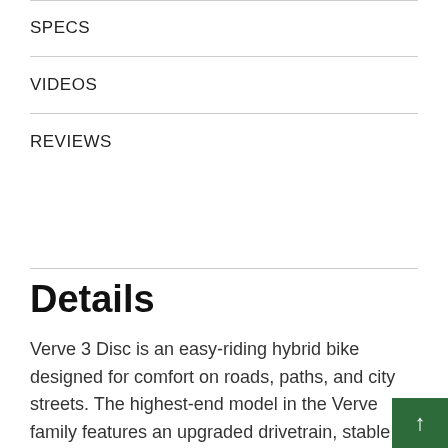SPECS
VIDEOS
REVIEWS
Details
Verve 3 Disc is an easy-riding hybrid bike designed for comfort on roads, paths, and city streets. The highest-end model in the Verve family features an upgraded drivetrain, stable puncture-resistant tires, and vibration-reducing handlebars and grips that make your ride even more comfortable.
It's right for you if...
You want a bike that will take you wherever you want to